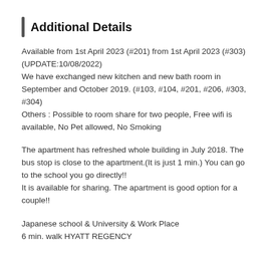Additional Details
Available from 1st April 2023 (#201) from 1st April 2023 (#303) (UPDATE:10/08/2022)
We have exchanged new kitchen and new bath room in September and October 2019. (#103, #104, #201, #206, #303, #304)
Others : Possible to room share for two people, Free wifi is available, No Pet allowed, No Smoking
The apartment has refreshed whole building in July 2018. The bus stop is close to the apartment.(It is just 1 min.) You can go to the school you go directly!!
It is available for sharing. The apartment is good option for a couple!!
Japanese school & University & Work Place
6 min. walk HYATT REGENCY